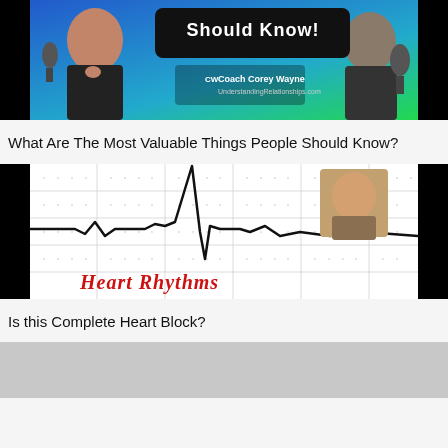[Figure (photo): Thumbnail image of a podcast/video titled 'Should Know?' featuring Coach Corey Wayne and UnderstandingRelationships.com, with two people visible and a microphone.]
What Are The Most Valuable Things People Should Know?
[Figure (photo): ECG strip thumbnail showing heart rhythm waveform with a QRS complex on graph paper, with 'Heart Rhythms' written in red cursive script, and a profile photo of a person in the upper right corner. Black bars on left and right sides.]
Is this Complete Heart Block?
[Figure (photo): Partially visible gray thumbnail image at bottom of page.]